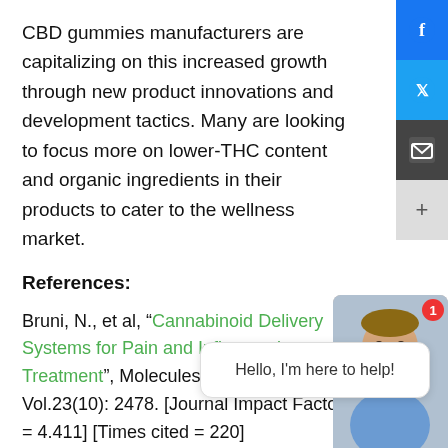CBD gummies manufacturers are capitalizing on this increased growth through new product innovations and development tactics. Many are looking to focus more on lower-THC content and organic ingredients in their products to cater to the wellness market.
References:
Bruni, N., et al, “Cannabinoid Delivery Systems for Pain and Inflammation Treatment”, Molecules, (2018); Vol.23(10): 2478. [Journal Impact Factor = 4.411] [Times cited = 220]
Image: https://pixabay.com/it/photos/cannabis-marijuana-erba-655